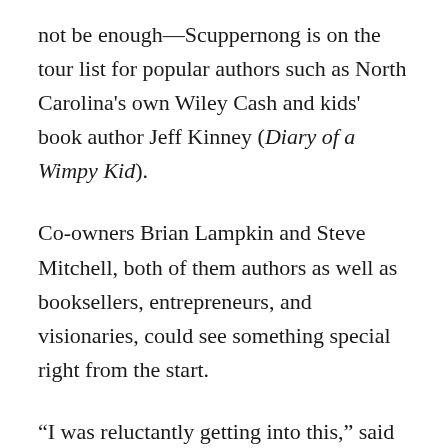not be enough—Scuppernong is on the tour list for popular authors such as North Carolina's own Wiley Cash and kids' book author Jeff Kinney (Diary of a Wimpy Kid).
Co-owners Brian Lampkin and Steve Mitchell, both of them authors as well as booksellers, entrepreneurs, and visionaries, could see something special right from the start.
“I was reluctantly getting into this,” said Lampkin, who had previously owned a bookstore in Buffalo, NY. “I called it something...